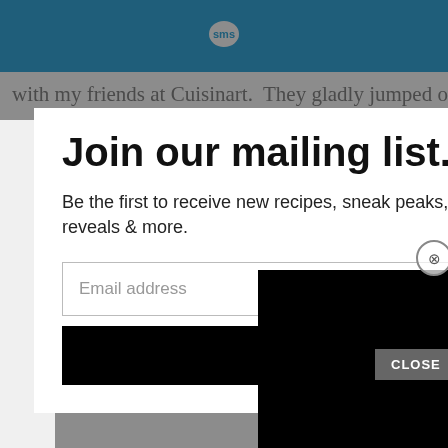[Figure (screenshot): Blue header bar with SMS chat bubble icon logo]
with my friends at Cuisinart.  They gladly jumped on board
[Figure (screenshot): Modal popup: Join our mailing list. Be the first to receive new recipes, sneak peaks, product reveals & more. Email address input and Subscribe button. Close (X) button top right. Black rectangle overlay partially covering modal.]
Cuisinart 12-piece Cookware Set
Cuisinart Belgian Waffle Maker with Pancake Plates {today's